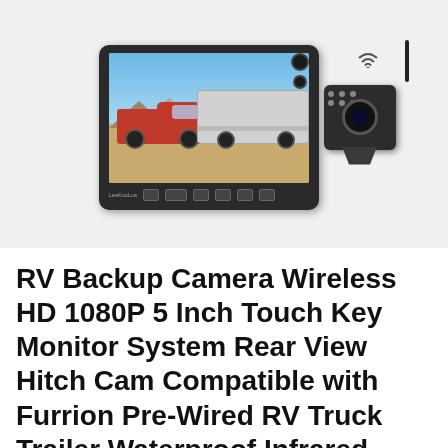[Figure (photo): Product photo of a LeeKooLuu RV backup camera system showing a 5-inch monitor displaying a red truck towing a silver trailer, alongside a square wireless backup camera unit with antenna.]
RV Backup Camera Wireless HD 1080P 5 Inch Touch Key Monitor System Rear View Hitch Cam Compatible with Furrion Pre-Wired RV Truck Trailer Waterproof Infrared